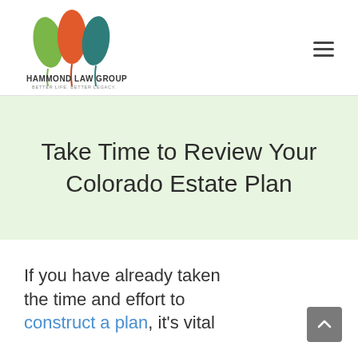HAMMOND LAW GROUP — BETTER LIFE. BETTER LEGACY.
Take Time to Review Your Colorado Estate Plan
If you have already taken the time and effort to construct a plan, it's vital